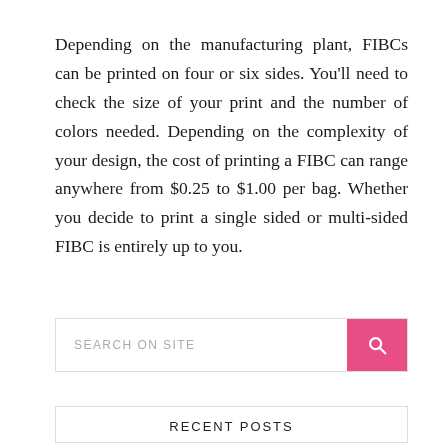Depending on the manufacturing plant, FIBCs can be printed on four or six sides. You'll need to check the size of your print and the number of colors needed. Depending on the complexity of your design, the cost of printing a FIBC can range anywhere from $0.25 to $1.00 per bag. Whether you decide to print a single sided or multi-sided FIBC is entirely up to you.
SEARCH ON SITE
RECENT POSTS